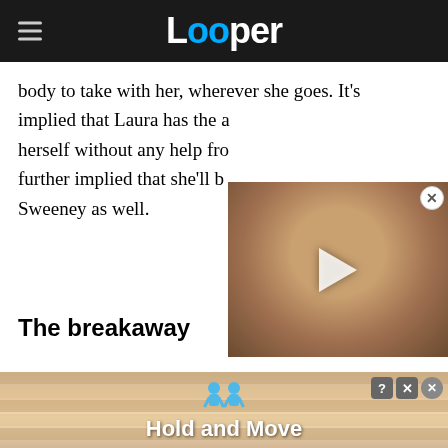Looper
body to take with her, wherever she goes. It's implied that Laura has the a herself without any help fro further implied that she'll b Sweeney as well.
[Figure (photo): Video overlay thumbnail showing a man's face with a play button, with a close X button in the top right corner]
The breakaway
[Figure (infographic): Advertisement banner with text 'Hold and Move' showing two blue figures, with a striped background, and close/help buttons in top right]